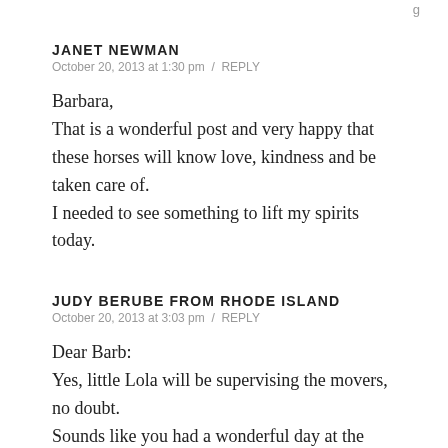JANET NEWMAN
October 20, 2013 at 1:30 pm / REPLY
Barbara,
That is a wonderful post and very happy that these horses will know love, kindness and be taken care of.
I needed to see something to lift my spirits today.
JUDY BERUBE FROM RHODE ISLAND
October 20, 2013 at 3:03 pm / REPLY
Dear Barb:
Yes, little Lola will be supervising the movers, no doubt.
Sounds like you had a wonderful day at the